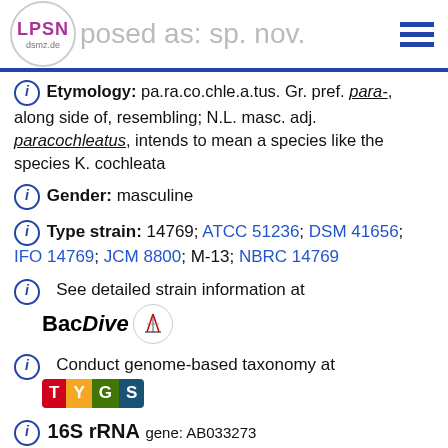LPSN dsmz.de — Proposed as: sp. nov.
Etymology: pa.ra.co.chle.a.tus. Gr. pref. para-, along side of, resembling; N.L. masc. adj. paracochleatus, intends to mean a species like the species K. cochleata
Gender: masculine
Type strain: 14769; ATCC 51236; DSM 41656; IFO 14769; JCM 8800; M-13; NBRC 14769
See detailed strain information at BacDive
Conduct genome-based taxonomy at TYGS
16S rRNA gene: AB033273 — Archive